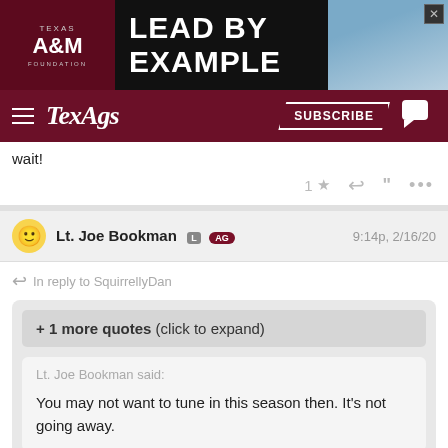[Figure (screenshot): Texas A&M Foundation advertisement banner with logo and 'LEAD BY EXAMPLE' text]
TexAgs | SUBSCRIBE
wait!
1 ★ reply quote ...
Lt. Joe Bookman L AG  9:14p, 2/16/20
In reply to SquirrellyDan
+ 1 more quotes (click to expand)
Lt. Joe Bookman said:
You may not want to tune in this season then. It's not going away.
SquirrellyDan said:
As long as the Astros continue winning, you're probably right. Can't